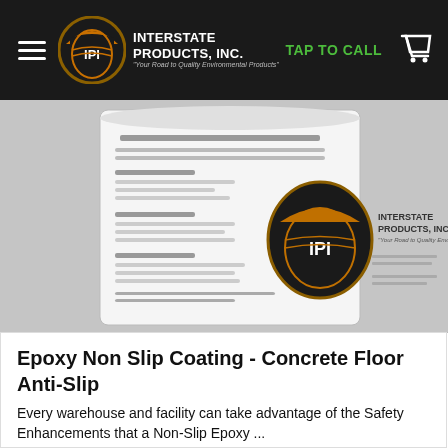Interstate Products, Inc. — TAP TO CALL
[Figure (photo): Product label of Interstate Products Inc. Epoxy Non Slip Coating bucket, showing white label with product details and the IPI logo on the side.]
Epoxy Non Slip Coating - Concrete Floor Anti-Slip
Every warehouse and facility can take advantage of the Safety Enhancements that a Non-Slip Epoxy ...
Read More